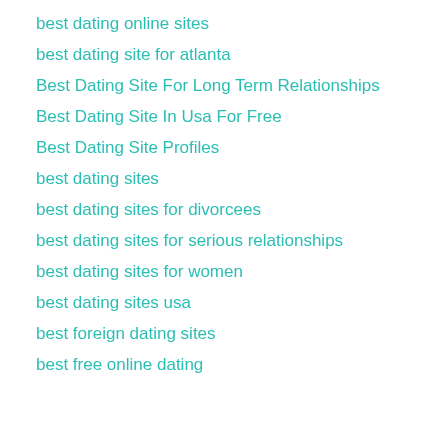best dating online sites
best dating site for atlanta
Best Dating Site For Long Term Relationships
Best Dating Site In Usa For Free
Best Dating Site Profiles
best dating sites
best dating sites for divorcees
best dating sites for serious relationships
best dating sites for women
best dating sites usa
best foreign dating sites
best free online dating